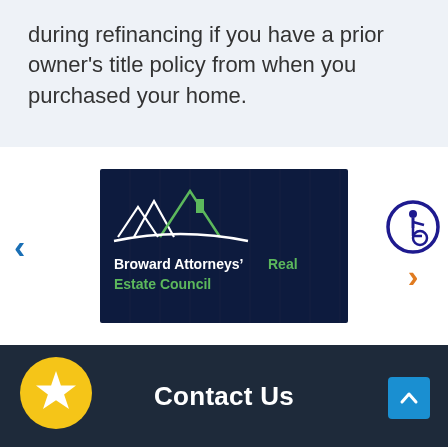during refinancing if you have a prior owner's title policy from when you purchased your home.
[Figure (logo): Broward Attorneys' Real Estate Council logo on dark navy background with house/mountains graphic. Text: 'Broward Attorneys' Real Estate Council' in white and green.]
Contact Us